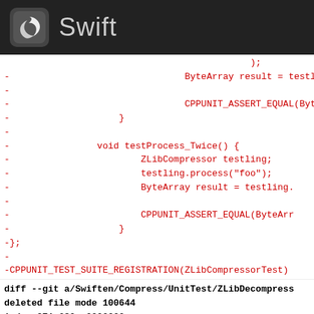Swift
- ByteArray result = testling.
-
- CPPUNIT_ASSERT_EQUAL(ByteArr
-                 }
-
-             void testProcess_Twice() {
-                 ZLibCompressor testling;
-                 testling.process("foo");
-                 ByteArray result = testling.
-
-                 CPPUNIT_ASSERT_EQUAL(ByteArr
-                 }
-};
-
-CPPUNIT_TEST_SUITE_REGISTRATION(ZLibCompressorTest)
diff --git a/Swiften/Compress/UnitTest/ZLibDecompress
deleted file mode 100644
index 871a630..0000000
--- a/Swiften/Compress/UnitTest/ZLibDecompress...